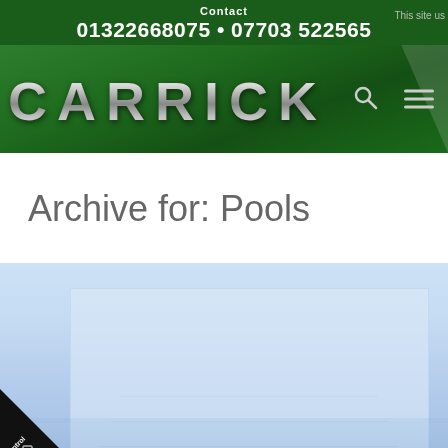Contact
01322668075 • 07703 522565
This site us
[Figure (logo): CARRICK logo in metallic chrome letters on dark green textured background with search icon and hamburger menu]
Archive for: Pools
[Figure (photo): Light blue swimming pool scene with a semi-transparent card/image overlay showing a pool area]
[Figure (logo): Control Your Site black triangle badge in bottom-left corner with white text and device icon]